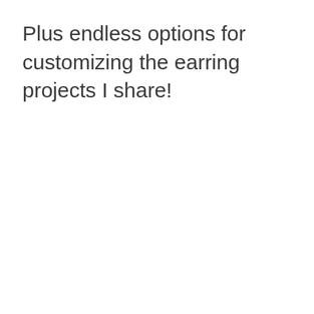Plus endless options for customizing the earring projects I share!